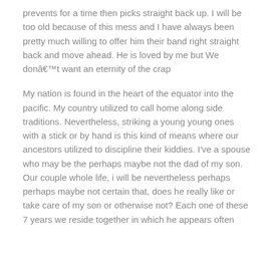prevents for a time then picks straight back up. I will be too old because of this mess and I have always been pretty much willing to offer him their band right straight back and move ahead. He is loved by me but We donâ€™t want an eternity of the crap
My nation is found in the heart of the equator into the pacific. My country utilized to call home along side traditions. Nevertheless, striking a young young ones with a stick or by hand is this kind of means where our ancestors utilized to discipline their kiddies. I've a spouse who may be the perhaps maybe not the dad of my son. Our couple whole life, i will be nevertheless perhaps perhaps maybe not certain that, does he really like or take care of my son or otherwise not? Each one of these 7 years we reside together in which he appears often